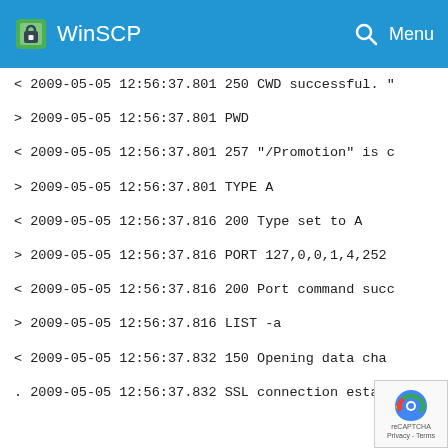WinSCP
< 2009-05-05 12:56:37.801 250 CWD successful. "
> 2009-05-05 12:56:37.801 PWD
< 2009-05-05 12:56:37.801 257 "/Promotion" is c
> 2009-05-05 12:56:37.801 TYPE A
< 2009-05-05 12:56:37.816 200 Type set to A
> 2009-05-05 12:56:37.816 PORT 127,0,0,1,4,252
< 2009-05-05 12:56:37.816 200 Port command succ
> 2009-05-05 12:56:37.816 LIST -a
< 2009-05-05 12:56:37.832 150 Opening data cha
. 2009-05-05 12:56:37.832 SSL connection establ